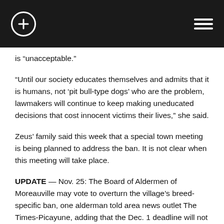[navigation bar with plus icon and menu icon]
is “unacceptable.”
“Until our society educates themselves and admits that it is humans, not ‘pit bull-type dogs’ who are the problem, lawmakers will continue to keep making uneducated decisions that cost innocent victims their lives,” she said.
Zeus’ family said this week that a special town meeting is being planned to address the ban. It is not clear when this meeting will take place.
UPDATE — Nov. 25: The Board of Aldermen of Moreauville may vote to overturn the village’s breed-specific ban, one alderman told area news outlet The Times-Picayune, adding that the Dec. 1 deadline will not be enforced.
“It was a mistake,” said Alderman Penn Lemoine. “And it’s got to